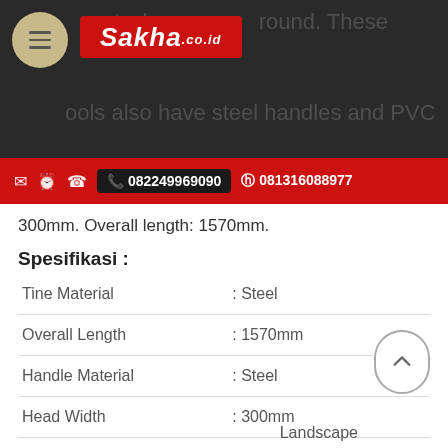Sakha.co.id — header with logo and contact bar
300mm. Overall length: 1570mm.
Spesifikasi :
| Property | Value |
| --- | --- |
| Tine Material | : Steel |
| Overall Length | : 1570mm |
| Handle Material | : Steel |
| Head Width | : 300mm |
| Compatible Materials | : Hay |
Landscape